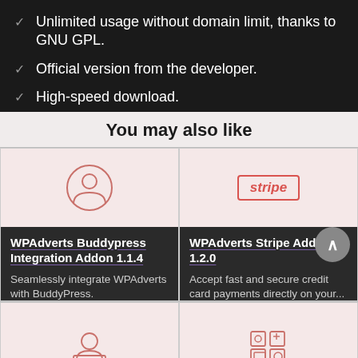Unlimited usage without domain limit, thanks to GNU GPL.
Official version from the developer.
High-speed download.
You may also like
[Figure (illustration): Card with person/user circle icon in pink background]
WPAdverts Buddypress Integration Addon 1.1.4
Seamlessly integrate WPAdverts with BuddyPress.
[Figure (illustration): Card with Stripe logo badge in pink background]
WPAdverts Stripe Addon 1.2.0
Accept fast and secure credit card payments directly on your...
[Figure (illustration): Bottom left card with person/user icon in pink background]
[Figure (illustration): Bottom right card with grid/widget icons in pink background]